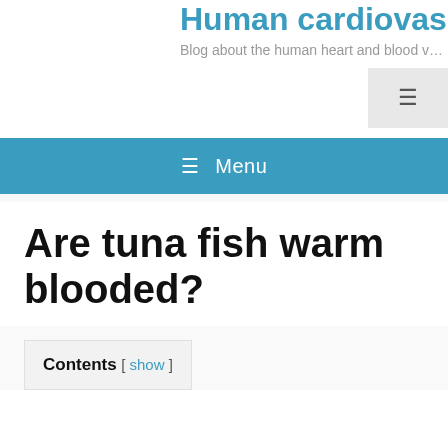Human cardiovascula...
Blog about the human heart and blood v...
Are tuna fish warm blooded?
Contents [ show ]